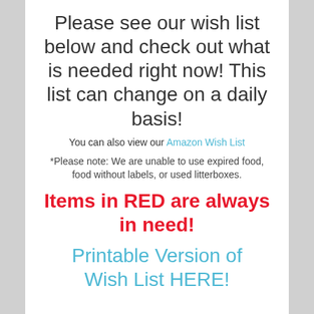Please see our wish list below and check out what is needed right now!  This list can change on a daily basis!
You can also view our Amazon Wish List
*Please note: We are unable to use expired food, food without labels, or used litterboxes.
Items in RED are always in need!
Printable Version of Wish List HERE!